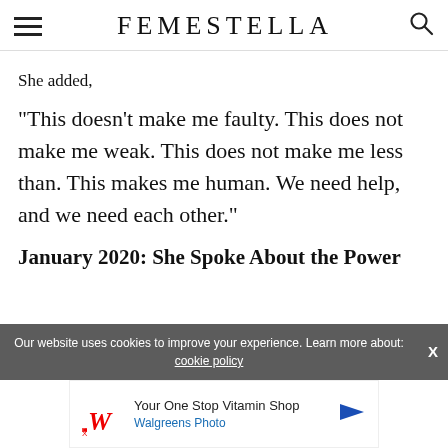FEMESTELLA
She added,
“This doesn’t make me faulty. This does not make me weak. This does not make me less than. This makes me human. We need help, and we need each other.”
January 2020: She Spoke About the Power
Our website uses cookies to improve your experience. Learn more about: cookie policy
[Figure (logo): Walgreens Photo advertisement: Your One Stop Vitamin Shop]